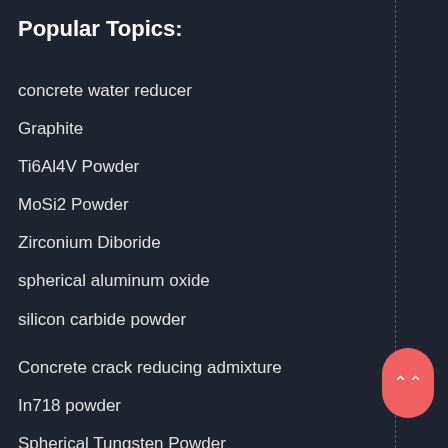Popular Topics:
concrete water reducer
Graphite
Ti6Al4V Powder
MoSi2 Powder
Zirconium Diboride
spherical aluminum oxide
silicon carbide powder
Concrete crack reducing admixture
In718 powder
Spherical Tungsten Powder